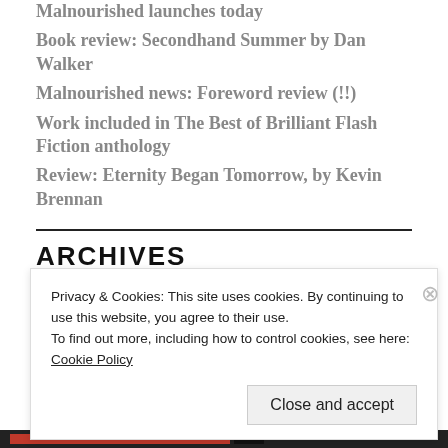Malnourished launches today
Book review: Secondhand Summer by Dan Walker
Malnourished news: Foreword review (!!)
Work included in The Best of Brilliant Flash Fiction anthology
Review: Eternity Began Tomorrow, by Kevin Brennan
ARCHIVES
Privacy & Cookies: This site uses cookies. By continuing to use this website, you agree to their use.
To find out more, including how to control cookies, see here:
Cookie Policy
Close and accept